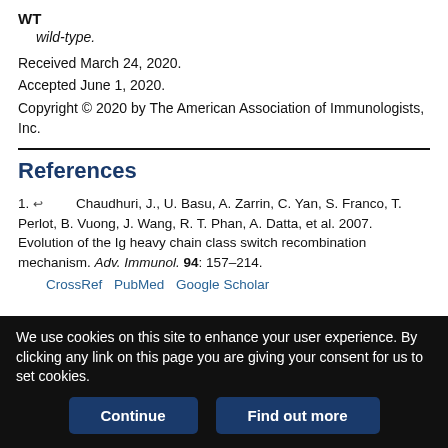WT
  wild-type.
Received March 24, 2020.
Accepted June 1, 2020.
Copyright © 2020 by The American Association of Immunologists, Inc.
References
1. Chaudhuri, J., U. Basu, A. Zarrin, C. Yan, S. Franco, T. Perlot, B. Vuong, J. Wang, R. T. Phan, A. Datta, et al. 2007. Evolution of the Ig heavy chain class switch recombination mechanism. Adv. Immunol. 94: 157–214.
CrossRef PubMed Google Scholar
We use cookies on this site to enhance your user experience. By clicking any link on this page you are giving your consent for us to set cookies.